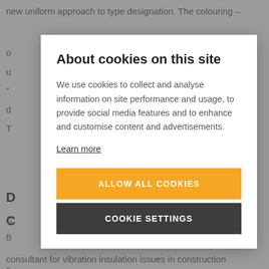new uniform approach to type designation. The colouring –
o
u
"
d
T
D
C
G
B
a
About cookies on this site
We use cookies to collect and analyse information on site performance and usage, to provide social media features and to enhance and customise content and advertisements.
Learn more
ALLOW ALL COOKIES
COOKIE SETTINGS
consultant for vibration insulation issues in construction